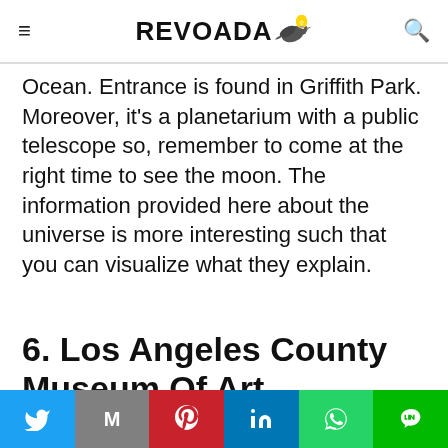REVOADA
Ocean. Entrance is found in Griffith Park. Moreover, it's a planetarium with a public telescope so, remember to come at the right time to see the moon. The information provided here about the universe is more interesting such that you can visualize what they explain.
6. Los Angeles County Museum Of Art
LACMA is a museum of art. It is the western